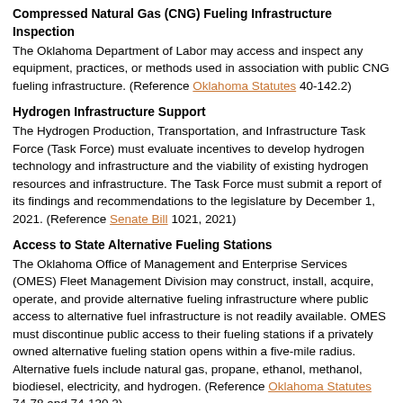Compressed Natural Gas (CNG) Fueling Infrastructure Inspection
The Oklahoma Department of Labor may access and inspect any equipment, practices, or methods used in association with public CNG fueling infrastructure. (Reference Oklahoma Statutes 40-142.2)
Hydrogen Infrastructure Support
The Hydrogen Production, Transportation, and Infrastructure Task Force (Task Force) must evaluate incentives to develop hydrogen technology and infrastructure and the viability of existing hydrogen resources and infrastructure. The Task Force must submit a report of its findings and recommendations to the legislature by December 1, 2021. (Reference Senate Bill 1021, 2021)
Access to State Alternative Fueling Stations
The Oklahoma Office of Management and Enterprise Services (OMES) Fleet Management Division may construct, install, acquire, operate, and provide alternative fueling infrastructure where public access to alternative fuel infrastructure is not readily available. OMES must discontinue public access to their fueling stations if a privately owned alternative fueling station opens within a five-mile radius. Alternative fuels include natural gas, propane, ethanol, methanol, biodiesel, electricity, and hydrogen. (Reference Oklahoma Statutes 74-78 and 74-130.2)
Low- and Medium-Speed Vehicle Access to Roadways
A low-speed electric vehicle (EV) is any four-wheeled EV powered by an electric motor that draws current from rechargeable storage batteries or other sources of electric current and whose top speed is greater than 20...